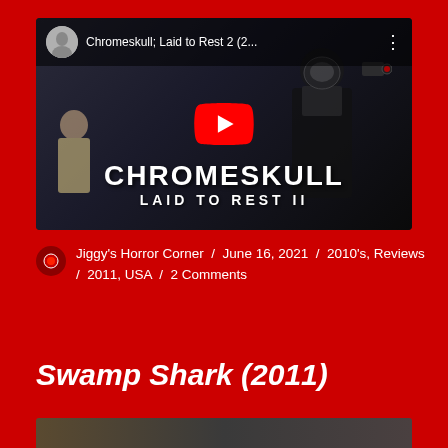[Figure (screenshot): YouTube video thumbnail for 'Chromeskull: Laid to Rest 2' showing a dark figure with a reflective skull mask and the movie title text 'CHROMESKULL LAID TO REST II' with a YouTube play button overlay]
Jiggy's Horror Corner / June 16, 2021 / 2010's, Reviews / 2011, USA / 2 Comments
Swamp Shark (2011)
[Figure (photo): Partial view of movie thumbnail at bottom of page]